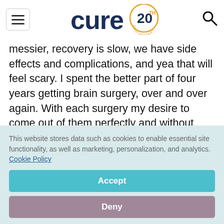CURE 20th Anniversary
messier, recovery is slow, we have side effects and complications, and yea that will feel scary. I spent the better part of four years getting brain surgery, over and over again. With each surgery my desire to come out of them perfectly and without showing my pain drifted further away.
This website stores data such as cookies to enable essential site functionality, as well as marketing, personalization, and analytics. Cookie Policy
Accept
Deny